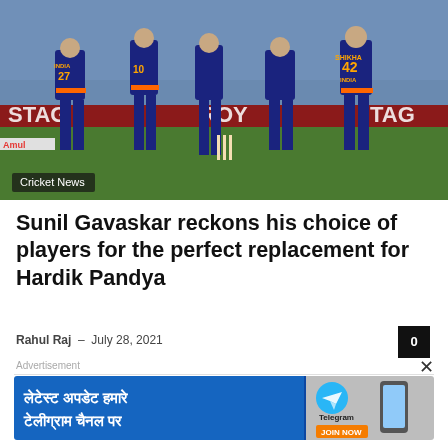[Figure (photo): India cricket team players in blue jerseys on the field. Players wearing numbers 27, 42 (Shikhar Dhawan) visible. Sponsor banners (STAG, TAG) in background. Red banner at bottom of field.]
Cricket News
Sunil Gavaskar reckons his choice of players for the perfect replacement for Hardik Pandya
Rahul Raj · July 28, 2021
0
Advertisement
[Figure (other): Telegram channel advertisement banner in blue with Hindi text reading 'लेटेस्ट अपडेट हमारे टेलीग्राम चैनल पर' with Telegram logo and JOIN NOW button, and hand holding a smartphone.]